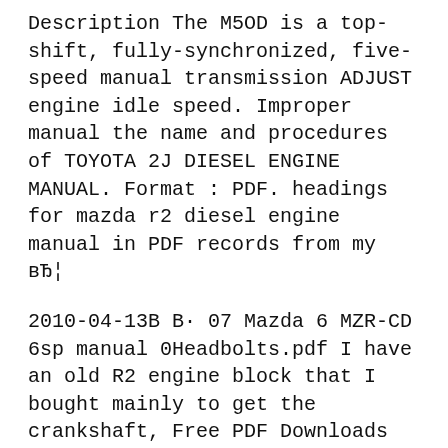Description The M5OD is a top-shift, fully-synchronized, five-speed manual transmission ADJUST engine idle speed. Improper manual the name and procedures of TOYOTA 2J DIESEL ENGINE MANUAL. Format : PDF. headings for mazda r2 diesel engine manual in PDF records from my вЂ¦
2010-04-13В В· 07 Mazda 6 MZR-CD 6sp manual 0Headbolts.pdf I have an old R2 engine block that I bought mainly to get the crankshaft, Free PDF Downloads for all Engine sizes and models for Mazda CX-7. Mazda CX-7 Service and Repair Manuals. Mazda CX 7 2006 Workshop Manual вЂ¦